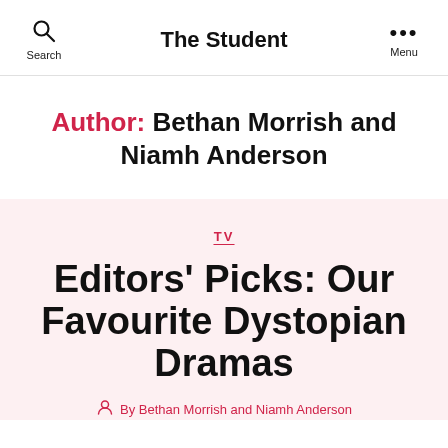The Student — Search | Menu
Author: Bethan Morrish and Niamh Anderson
TV
Editors' Picks: Our Favourite Dystopian Dramas
By Bethan Morrish and Niamh Anderson